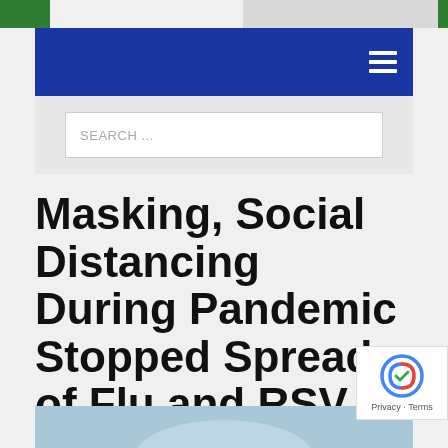[Figure (photo): Top strip with green banner on left and a partial photo of a laptop/desk on the right with green accent]
Navigation bar with hamburger menu icon
SEARCH ...
Masking, Social Distancing During Pandemic Stopped Spread of Flu and RSV During 2020 Cold and Flu Season
[Figure (photo): Bottom partial image strip showing a light blue background, appears to be a cropped health-related photo]